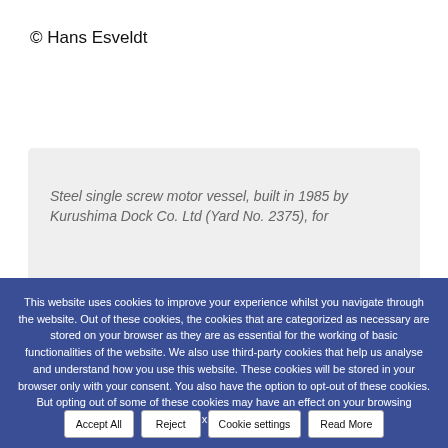© Hans Esveldt
Steel single screw motor vessel, built in 1985 by Kurushima Dock Co. Ltd (Yard No. 2375), for
This website uses cookies to improve your experience whilst you navigate through the website. Out of these cookies, the cookies that are categorized as necessary are stored on your browser as they are as essential for the working of basic functionalities of the website. We also use third-party cookies that help us analyse and understand how you use this website. These cookies will be stored in your browser only with your consent. You also have the option to opt-out of these cookies. But opting out of some of these cookies may have an effect on your browsing experience.
Accept All
Reject
Cookie settings
Read More